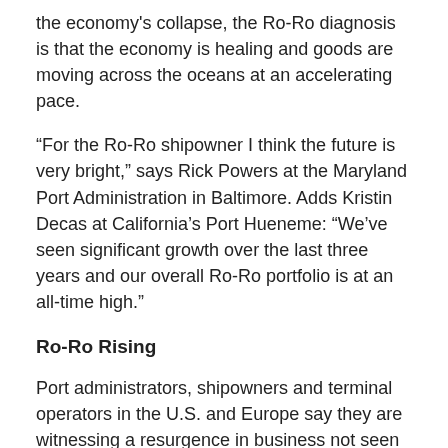the economy's collapse, the Ro-Ro diagnosis is that the economy is healing and goods are moving across the oceans at an accelerating pace.
“For the Ro-Ro shipowner I think the future is very bright,” says Rick Powers at the Maryland Port Administration in Baltimore. Adds Kristin Decas at California’s Port Hueneme: “We’ve seen significant growth over the last three years and our overall Ro-Ro portfolio is at an all-time high.”
Ro-Ro Rising
Port administrators, shipowners and terminal operators in the U.S. and Europe say they are witnessing a resurgence in business not seen since 2006. For the record, Ro-Ro is cargo that can be rolled on and rolled off vessels rather than shipped in containers or bulk. Automobiles, tractors, construction and farm equipment, and even giant generators and turbines loaded onto trailers are rolled on and off ships.